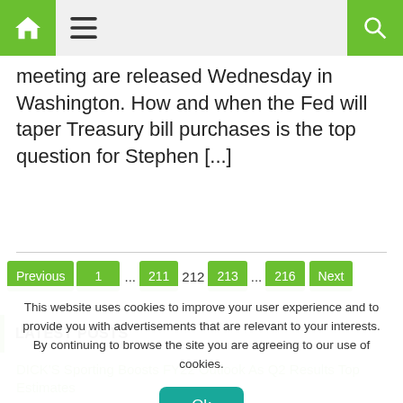Navigation bar with home, menu, and search icons
meeting are released Wednesday in Washington. How and when the Fed will taper Treasury bill purchases is the top question for Stephen [...]
Pagination: Previous | 1 | ... | 211 | 212 | 213 | ... | 216 | Next
LATEST POSTS
DICK'S Sporting Boosts FY22 Outlook As Q2 Results Top Estimates
This website uses cookies to improve your user experience and to provide you with advertisements that are relevant to your interests. By continuing to browse the site you are agreeing to our use of cookies.